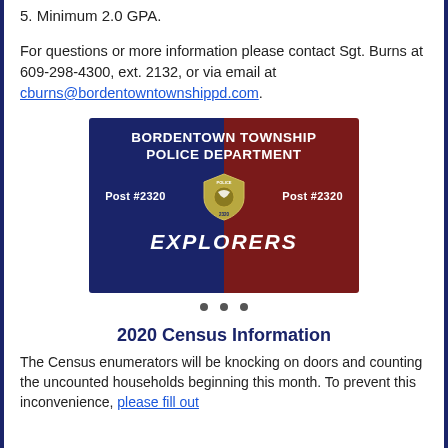5. Minimum 2.0 GPA.
For questions or more information please contact Sgt. Burns at 609-298-4300, ext. 2132, or via email at cburns@bordentowntownshippd.com.
[Figure (logo): Bordentown Township Police Department Explorers Post #2320 logo with blue and dark red background, police badge, and text 'EXPLORERS']
• • •
2020 Census Information
The Census enumerators will be knocking on doors and counting the uncounted households beginning this month. To prevent this inconvenience, please fill out